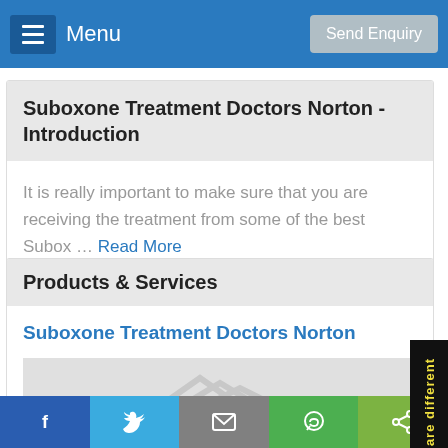Menu | Send Enquiry
Suboxone Treatment Doctors Norton - Introduction
It is really important to make sure that you are receiving the treatment from some of the best Subox ... Read More
Products & Services
Suboxone Treatment Doctors Norton
[Figure (illustration): Placeholder image with a light gray background and a faint architectural/logo icon in white]
f | Twitter bird | mail | WhatsApp | share